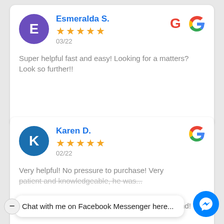[Figure (other): Review card for Esmeralda S. with purple avatar showing letter E, 5-star Google review dated 03/22, review text: Super helpful fast and easy! Looking for a matters? Look so further!!]
[Figure (other): Review card for Karen D. with blue avatar showing letter K, 5-star Google review dated 02/22, review text: Very helpful! No pressure to purchase! Very patient and knowledgeable, he was... [end!]]
Chat with me on Facebook Messenger here...